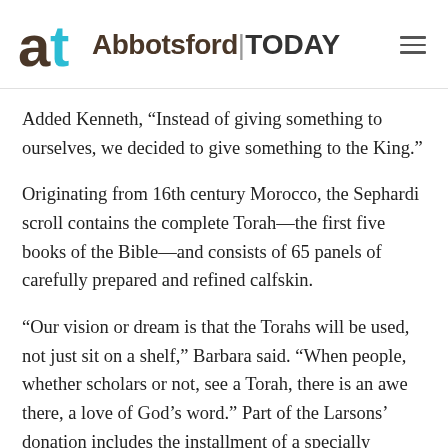Abbotsford|TODAY
Added Kenneth, “Instead of giving something to ourselves, we decided to give something to the King.”
Originating from 16th century Morocco, the Sephardi scroll contains the complete Torah—the first five books of the Bible—and consists of 65 panels of carefully prepared and refined calfskin.
“Our vision or dream is that the Torahs will be used, not just sit on a shelf,” Barbara said. “When people, whether scholars or not, see a Torah, there is an awe there, a love of God’s word.” Part of the Larsons’ donation includes the installment of a specially designed Torah